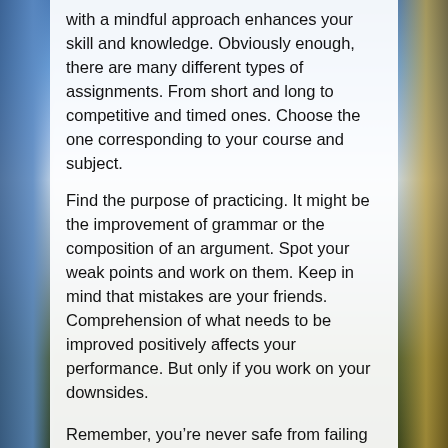with a mindful approach enhances your skill and knowledge. Obviously enough, there are many different types of assignments. From short and long to competitive and timed ones. Choose the one corresponding to your course and subject.
Find the purpose of practicing. It might be the improvement of grammar or the composition of an argument. Spot your weak points and work on them. Keep in mind that mistakes are your friends. Comprehension of what needs to be improved positively affects your performance. But only if you work on your downsides.
Remember, you’re never safe from failing or giving up. Being a human means overcoming weaknesses and becoming stronger. Just don't give up, nobody produces a perfect piece of work immediately. Take your time and keep working on yourself.